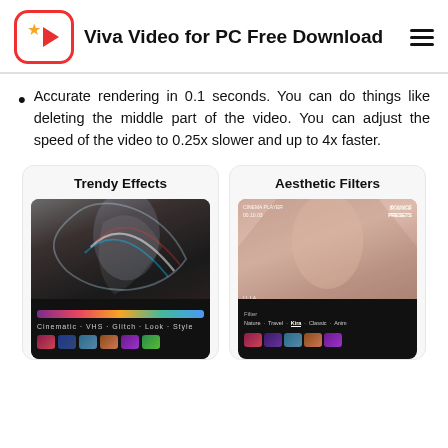Viva Video for PC Free Download
Accurate rendering in 0.1 seconds. You can do things like deleting the middle part of the video. You can adjust the speed of the video to 0.25x slower and up to 4x faster.
[Figure (screenshot): Two app feature cards side by side: 'Trendy Effects' showing a dark action video with glitch effect and editing UI at bottom, and 'Aesthetic Filters' showing a fashion video with filter UI at bottom.]